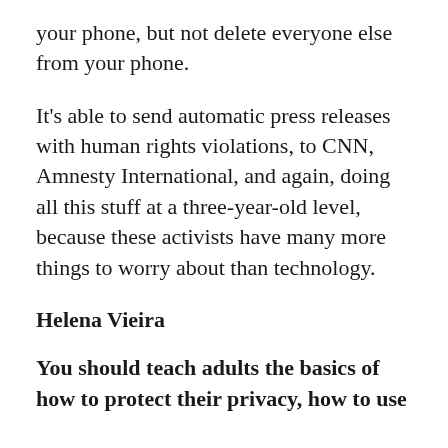your phone, but not delete everyone else from your phone.
It’s able to send automatic press releases with human rights violations, to CNN, Amnesty International, and again, doing all this stuff at a three-year-old level, because these activists have many more things to worry about than technology.
Helena Vieira
You should teach adults the basics of how to protect their privacy, how to use